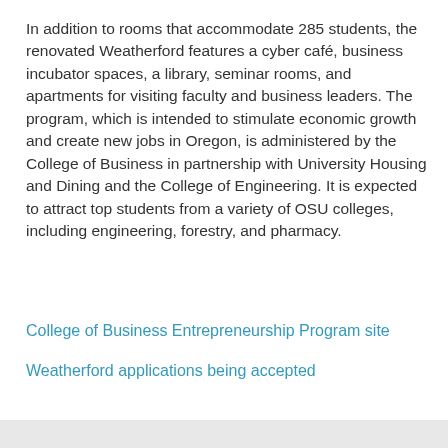In addition to rooms that accommodate 285 students, the renovated Weatherford features a cyber café, business incubator spaces, a library, seminar rooms, and apartments for visiting faculty and business leaders. The program, which is intended to stimulate economic growth and create new jobs in Oregon, is administered by the College of Business in partnership with University Housing and Dining and the College of Engineering. It is expected to attract top students from a variety of OSU colleges, including engineering, forestry, and pharmacy.
College of Business Entrepreneurship Program site
Weatherford applications being accepted
Posted in Business, OSU People and Programs.